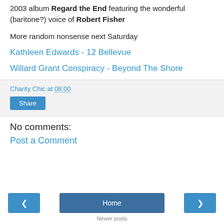2003 album Regard the End featuring the wonderful (baritone?) voice of Robert Fisher
More random nonsense next Saturday
Kathleen Edwards - 12 Bellevue
Willard Grant Conspiracy - Beyond The Shore
Charity Chic at 08:00
Share
No comments:
Post a Comment
Home